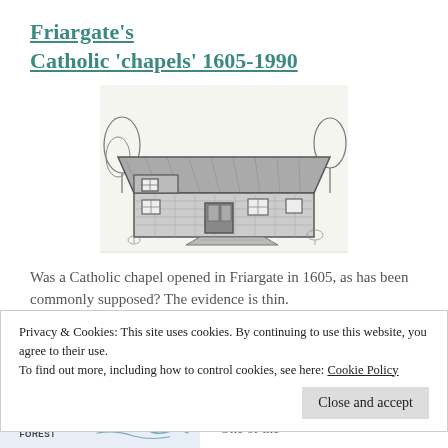Friargate's Catholic 'chapels' 1605-1990
[Figure (illustration): Black and white sketch/illustration of a stone building with a sloped roof, windows, and a ramp or pathway leading to the entrance, surrounded by trees and vegetation.]
Was a Catholic chapel opened in Friargate in 1605, as has been commonly supposed? The evidence is thin.
Privacy & Cookies: This site uses cookies. By continuing to use this website, you agree to their use.
To find out more, including how to control cookies, see here: Cookie Policy
Close and accept
[Figure (map): Partial map showing FULWOOD FOREST label and blue geographic outlines]
One of the